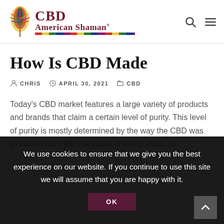CBD American Shaman
How Is CBD Made
CHRIS   APRIL 30, 2021   CBD
Today's CBD market features a large variety of products and brands that claim a certain level of purity. This level of purity is mostly determined by the way the CBD was extracted from the marijuana or hemp plant. To
We use cookies to ensure that we give you the best experience on our website. If you continue to use this site we will assume that you are happy with it.